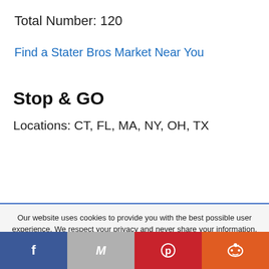Total Number: 120
Find a Stater Bros Market Near You
Stop & GO
Locations: CT, FL, MA, NY, OH, TX
Our website uses cookies to provide you with the best possible user experience. We respect your privacy and never share your information.
Learn More
Accept
[Figure (infographic): Social share buttons: Facebook (blue), Gmail (gray), Pinterest (red), Reddit (orange)]